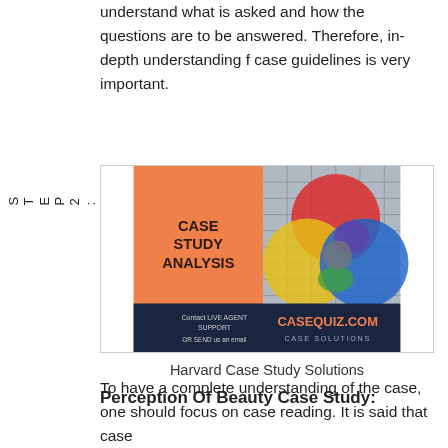understand what is asked and how the questions are to be answered. Therefore, in-depth understanding f case guidelines is very important.
STEP2:ReadingTheHarvard
[Figure (illustration): Case Study Analysis advertisement image showing overlapping colored Venn diagram circles (red, yellow, blue, purple, green, gray) with text 'CASE STUDY ANALYSIS' on orange background and CASEQUIZ.COM branding at bottom.]
Harvard Case Study Solutions
Perception Of Beauty Case Study:
To have a complete understanding of the case, one should focus on case reading. It is said that case